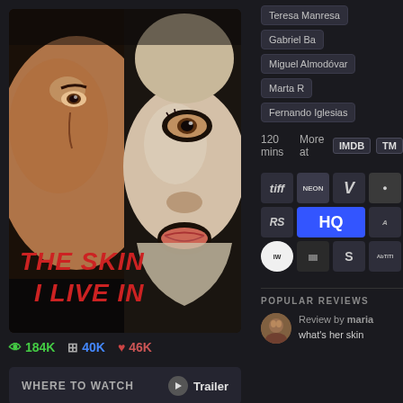[Figure (photo): Movie poster for 'The Skin I Live In' showing a man's face on the left and a masked face on the right with the title text in red italic capitals]
184K  40K  46K
WHERE TO WATCH  Trailer
Teresa Manresa
Gabriel Ba
Miguel Almodóvar
Marta R
Fernando Iglesias
120 mins  More at  IMDB  TM
[Figure (logo): Grid of critic/publication logos: tiff, NEON, V, RS, HQ, IndieWire, Letterboxd, S, AbTiti]
POPULAR REVIEWS
Review by maria
what's her skin